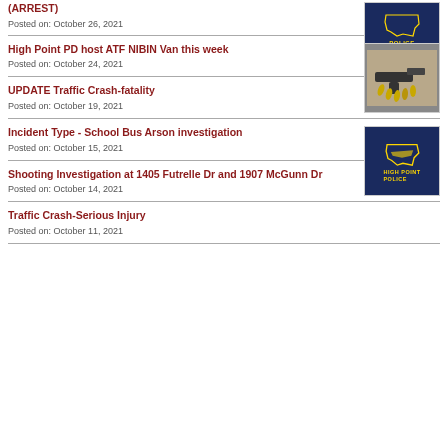(ARREST)
Posted on: October 26, 2021
High Point PD host ATF NIBIN Van this week
Posted on: October 24, 2021
UPDATE Traffic Crash-fatality
Posted on: October 19, 2021
Incident Type - School Bus Arson investigation
Posted on: October 15, 2021
Shooting Investigation at 1405 Futrelle Dr and 1907 McGunn Dr
Posted on: October 14, 2021
Traffic Crash-Serious Injury
Posted on: October 11, 2021